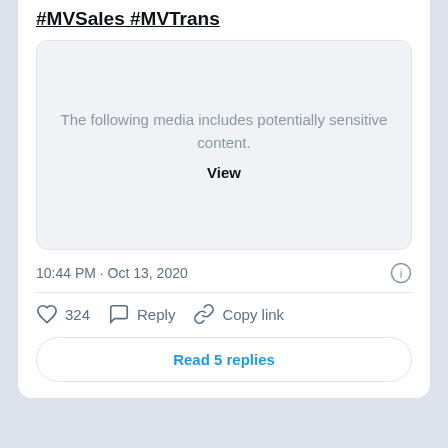#MVSales #MVTrans
[Figure (screenshot): Blurred sensitive media placeholder box with text: 'The following media includes potentially sensitive content.' and a 'View' button]
10:44 PM · Oct 13, 2020
324  Reply  Copy link
Read 5 replies